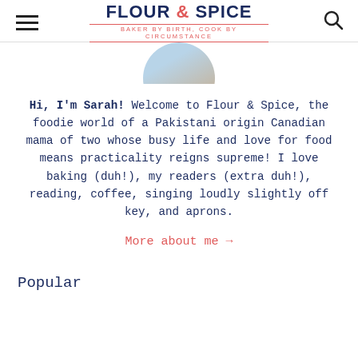FLOUR & SPICE — BAKER BY BIRTH, COOK BY CIRCUMSTANCE
[Figure (photo): Circular cropped profile photo of Sarah, partially visible at top center, showing a light blue background and hands]
Hi, I'm Sarah! Welcome to Flour & Spice, the foodie world of a Pakistani origin Canadian mama of two whose busy life and love for food means practicality reigns supreme! I love baking (duh!), my readers (extra duh!), reading, coffee, singing loudly slightly off key, and aprons.
More about me →
Popular